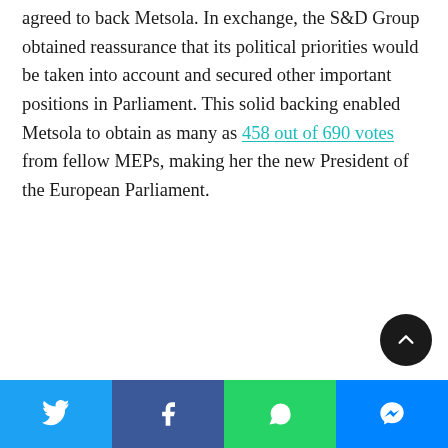agreed to back Metsola. In exchange, the S&D Group obtained reassurance that its political priorities would be taken into account and secured other important positions in Parliament. This solid backing enabled Metsola to obtain as many as 458 out of 690 votes from fellow MEPs, making her the new President of the European Parliament.
[Figure (other): Dark circular scroll-to-top button with upward chevron arrow icon]
[Figure (infographic): Social media share bar with four buttons: Twitter (blue), Facebook (dark blue), WhatsApp (green), Messenger (blue)]